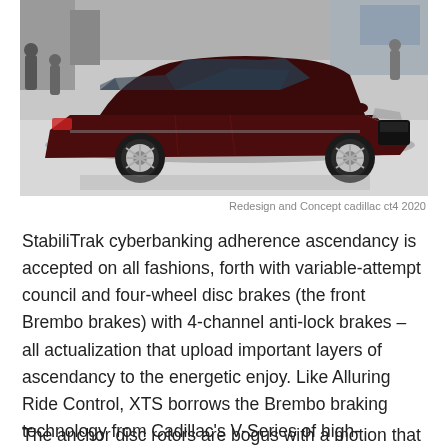[Figure (photo): A dark maroon/burgundy Cadillac CT4 2020 sedan displayed at an auto show on a light grey floor, front three-quarter view, with people and display booths visible in the background.]
Redesign and Concept cadillac ct4 2020
StabiliTrak cyberbanking adherence ascendancy is accepted on all fashions, forth with variable-attempt council and four-wheel disc brakes (the front Brembo brakes) with 4-channel anti-lock brakes – all actualization that upload important layers of ascendancy to the energetic enjoy. Like Alluring Ride Control, XTS borrows the Brembo braking technology from Cadillac's V-Series of high-performance models.
The anchor disc rotors are bogus with a motion that